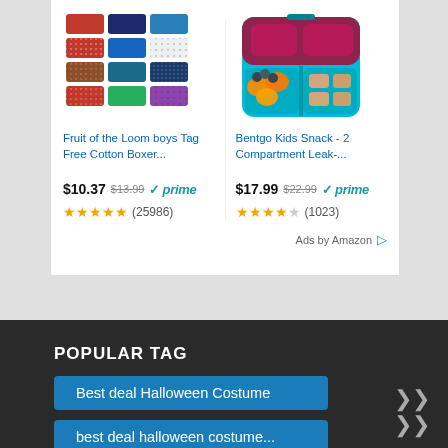[Figure (screenshot): Amazon ad card showing two products: Fruit of the Loom boys Tag Free Cotton Boxer and Bentgo Kids Snack - 2 Compartment Leak-... with prices, prime badges, and star ratings]
Fruit of the Loom boys Tag Free Cotton Boxer...
$10.37 $13.99 ✓prime (25986)
Bentgo Kids Snack - 2 Compartment Leak-...
$17.99 $22.99 ✓prime (1023)
Ads by Amazon ▷
POPULAR TAG
Best deal Halloween Costume